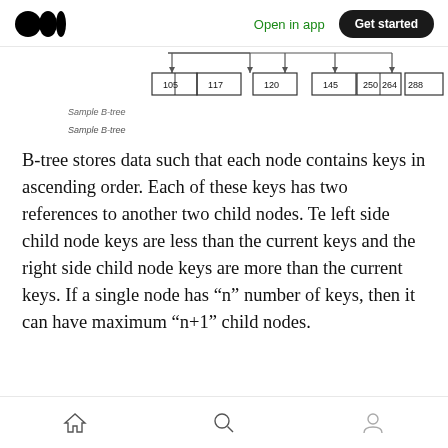Medium app header — Open in app | Get started
[Figure (other): Partial B-tree diagram showing leaf nodes with values: 105, 117, 120, 145, 250, 264, 288, 300, 320, 430, with arrows from parent nodes above]
Sample B-tree
B-tree stores data such that each node contains keys in ascending order. Each of these keys has two references to another two child nodes. Te left side child node keys are less than the current keys and the right side child node keys are more than the current keys. If a single node has “n” number of keys, then it can have maximum “n+1” child nodes.
Home | Search | Profile